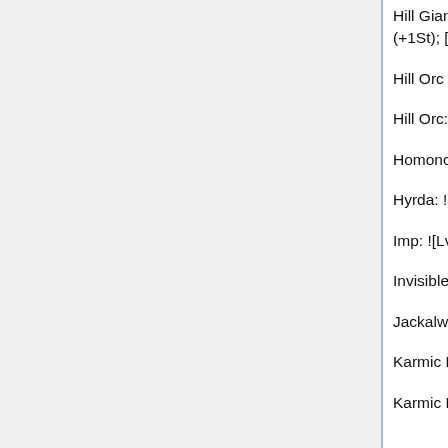Hill Giant: [[St < 8]:62.5%:(+1St); [St < 15]:60%:(+1St); [St = 15]:20%:(+1St); [St < 24]:16.7%:(+1St); [St = 24]:14.3%:(+1St)] {St up to 25}
Hill Orc Sergeant: Trains To 300
Hill Orc: Trains To 150
Homonculus: ![SleepResistant]:Sleep 4d4
Hyrda: ![ConfusionResistant]:Confuses 4d6
Imp: ![Lvl40 Assassin]:Poisons 2d3Da_1d4+5Fr
Invisible Stalker: [10%:+Invisibility; 90%:+SeeInvisible]
Jackalwere: Sickens 6d6
Karmic Baby Dragon: Karmic
Karmic Dragon: Karmic